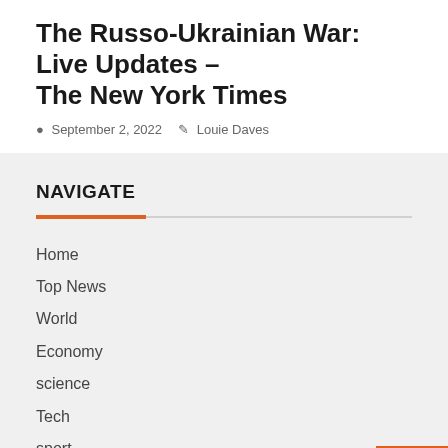The Russo-Ukrainian War: Live Updates – The New York Times
September 2, 2022   Louie Daves
NAVIGATE
Home
Top News
World
Economy
science
Tech
sport
entertainment